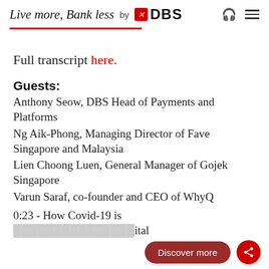Live more, Bank less by DBS
Full transcript here.
Guests:
Anthony Seow, DBS Head of Payments and Platforms
Ng Aik-Phong, Managing Director of Fave Singapore and Malaysia
Lien Choong Luen, General Manager of Gojek Singapore
Varun Saraf, co-founder and CEO of WhyQ
0:23 - How Covid-19 is ... digital